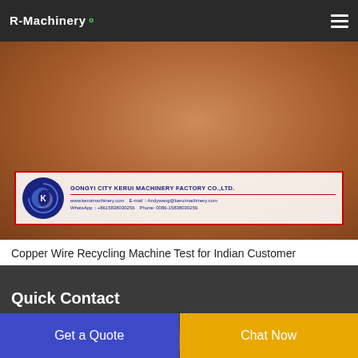R-Machinery
[Figure (photo): A hand holding copper wire granules (recycled copper pieces), with a company logo overlay for Gongyi City Kerui Machinery Factory Co., Ltd. showing website, email, WhatsApp and phone contact details.]
Copper Wire Recycling Machine Test for Indian Customer
Quick Contact